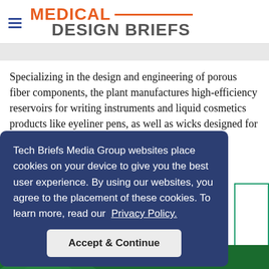MEDICAL DESIGN BRIEFS
Specializing in the design and engineering of porous fiber components, the plant manufactures high-efficiency reservoirs for writing instruments and liquid cosmetics products like eyeliner pens, as well as wicks designed for pregnancy tests.
Tech Briefs Media Group websites place cookies on your device to give you the best user experience. By using our websites, you agree to the placement of these cookies. To learn more, read our Privacy Policy.
Accept & Continue